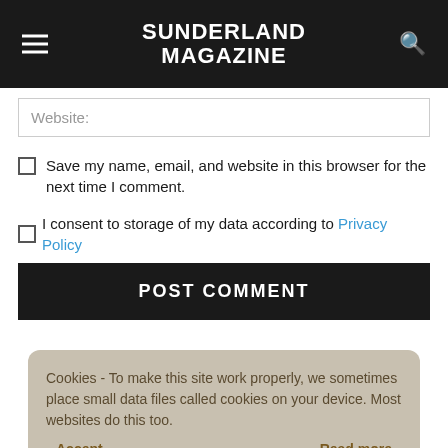SUNDERLAND MAGAZINE
Website:
Save my name, email, and website in this browser for the next time I comment.
I consent to storage of my data according to Privacy Policy
POST COMMENT
Cookies - To make this site work properly, we sometimes place small data files called cookies on your device. Most websites do this too.
Accept
Read more
Sunderland Graphic Design